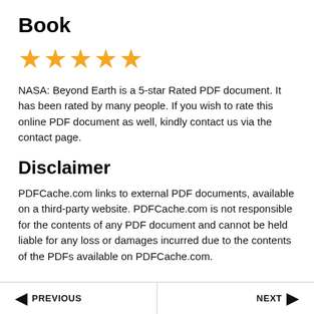Book
[Figure (other): Five golden star rating icons]
NASA: Beyond Earth is a 5-star Rated PDF document. It has been rated by many people. If you wish to rate this online PDF document as well, kindly contact us via the contact page.
Disclaimer
PDFCache.com links to external PDF documents, available on a third-party website. PDFCache.com is not responsible for the contents of any PDF document and cannot be held liable for any loss or damages incurred due to the contents of the PDFs available on PDFCache.com.
◄ PREVIOUS   NEXT ►